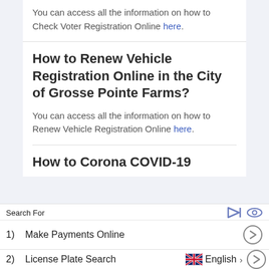You can access all the information on how to Check Voter Registration Online here.
How to Renew Vehicle Registration Online in the City of Grosse Pointe Farms?
You can access all the information on how to Renew Vehicle Registration Online here.
How to Corona COVID-19
Search For
1)   Make Payments Online
2)   License Plate Search